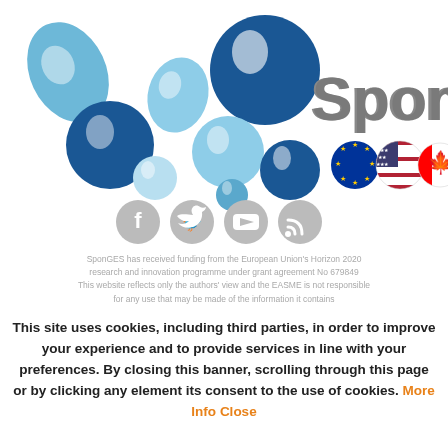[Figure (logo): SponGES project logo with blue bubble cluster and 'SponGES' text, plus EU, US, and Canadian flag circles]
[Figure (illustration): Social media icons: Facebook, Twitter, YouTube, RSS feed — gray circular buttons]
SponGES has received funding from the European Union's Horizon 2020 research and innovation programme under grant agreement No 679849 This website reflects only the authors' view and the EASME is not responsible for any use that may be made of the information it contains
This site uses cookies, including third parties, in order to improve your experience and to provide services in line with your preferences. By closing this banner, scrolling through this page or by clicking any element its consent to the use of cookies. More Info Close